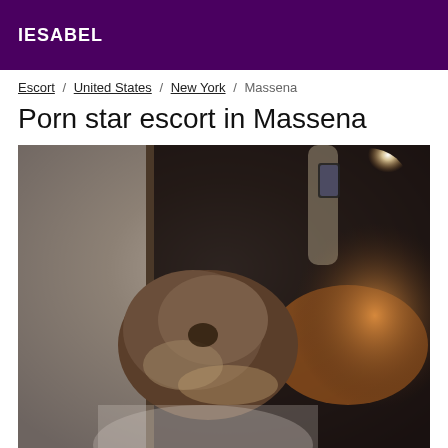IESABEL
Escort / United States / New York / Massena
Porn star escort in Massena
[Figure (photo): A person taking a mirror selfie with a phone, hair in an updo, dimly lit room with warm lighting visible in background mirror reflection.]